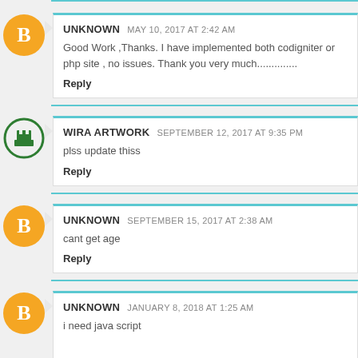UNKNOWN MAY 10, 2017 AT 2:42 AM
Good Work ,Thanks. I have implemented both codigniter or php site , no issues. Thank you very much..............
Reply
WIRA ARTWORK SEPTEMBER 12, 2017 AT 9:35 PM
plss update thiss
Reply
UNKNOWN SEPTEMBER 15, 2017 AT 2:38 AM
cant get age
Reply
UNKNOWN JANUARY 8, 2018 AT 1:25 AM
i need java script